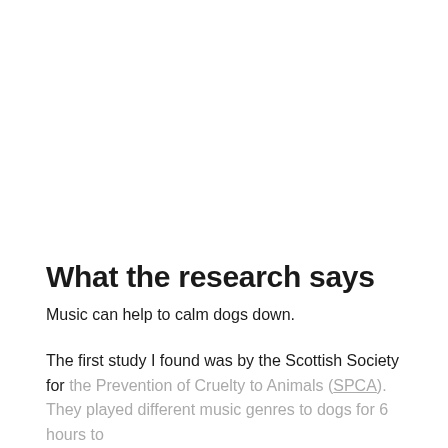What the research says
Music can help to calm dogs down.
The first study I found was by the Scottish Society for the Prevention of Cruelty to Animals (SPCA). They played different music genres to dogs for 6 hours to